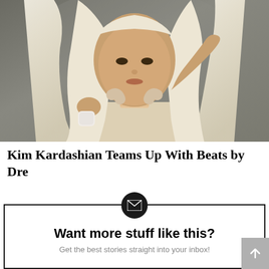[Figure (photo): A woman with long platinum blonde hair wearing a beige/nude sleeveless top, holding a small white object (earbuds case) in one hand and touching her ear with the other. Photo is a promotional image against a dark gray background.]
Kim Kardashian Teams Up With Beats by Dre
Want more stuff like this? Get the best stories straight into your inbox!